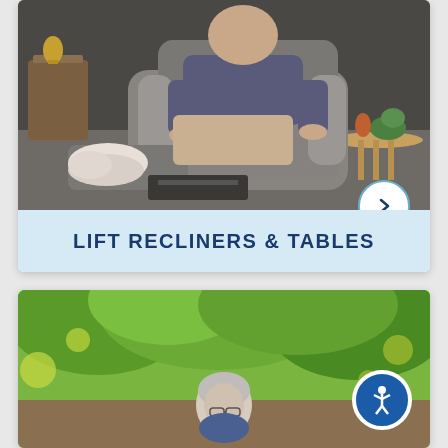[Figure (photo): Man sitting in a grey lift recliner chair with footrest extended, indoors with decorative items visible]
LIFT RECLINERS & TABLES
[Figure (photo): Older man with grey hair outdoors among green trees, accessibility icon visible in corner]